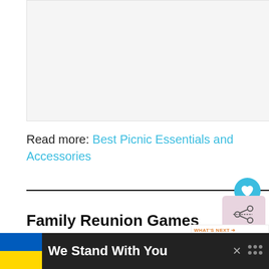[Figure (photo): Light gray placeholder image area]
Read more: Best Picnic Essentials and Accessories
Family Reunion Games
28. Cards Against Humanity –
[Figure (infographic): WHAT'S NEXT arrow label with thumbnail: 33 Best Family Game Night...]
[Figure (infographic): We Stand With You banner with Ukraine flag colors, close button and audio icon]